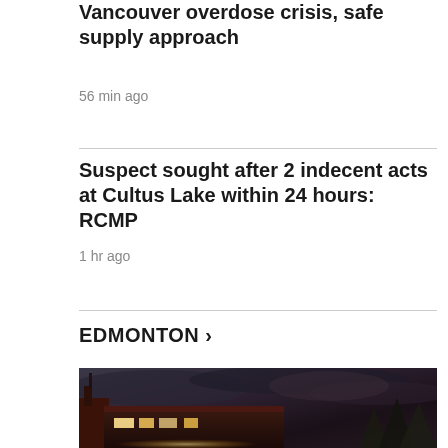Vancouver overdose crisis, safe supply approach
56 min ago
Suspect sought after 2 indecent acts at Cultus Lake within 24 hours: RCMP
1 hr ago
EDMONTON ›
[Figure (photo): Nighttime exterior photo of a building with interior lights on, dark stormy sky with trees visible in background]